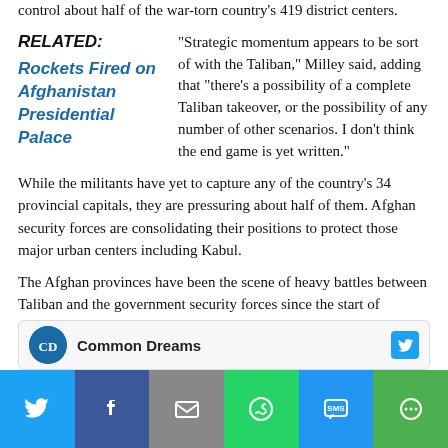control about half of the war-torn country's 419 district centers.
"Strategic momentum appears to be sort of with the Taliban," Milley said, adding that "there's a possibility of a complete Taliban takeover, or the possibility of any number of other scenarios. I don't think the end game is yet written."
RELATED:
Rockets Fired on Afghanistan Presidential Palace
While the militants have yet to capture any of the country's 34 provincial capitals, they are pressuring about half of them. Afghan security forces are consolidating their positions to protect those major urban centers including Kabul.
The Afghan provinces have been the scene of heavy battles between Taliban and the government security forces since the start of withdrawal of the U.S.-led forces from Afghanistan early May.
[Figure (infographic): Social share bar with Twitter, Facebook, Email, WhatsApp, SMS, and More buttons at bottom of page]